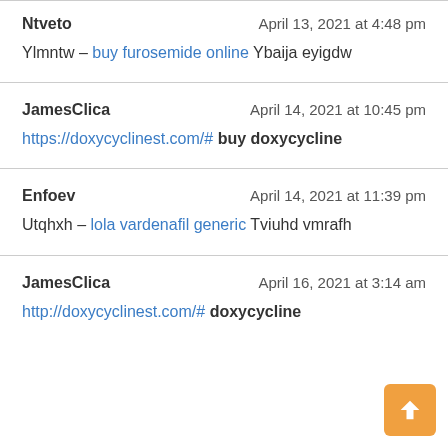Ntveto    April 13, 2021 at 4:48 pm
Ylmntw – buy furosemide online Ybaija eyigdw
JamesClica    April 14, 2021 at 10:45 pm
https://doxycyclinest.com/# buy doxycycline
Enfoev    April 14, 2021 at 11:39 pm
Utqhxh – lola vardenafil generic Tviuhd vmrafh
JamesClica    April 16, 2021 at 3:14 am
http://doxycyclinest.com/# doxycycline